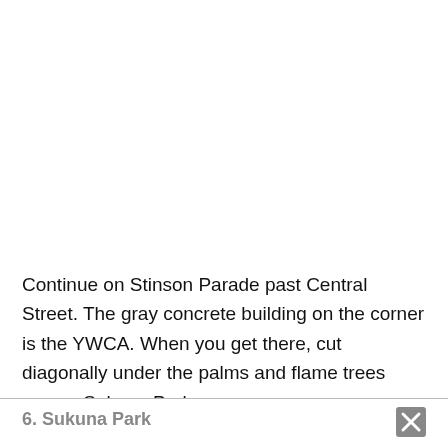Continue on Stinson Parade past Central Street. The gray concrete building on the corner is the YWCA. When you get there, cut diagonally under the palms and flame trees across Sukuna Park.
6. Sukuna Park
This park is named for Ratu Sir Lala Sukuna, founding